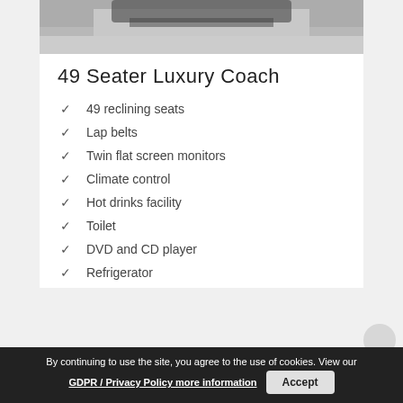[Figure (photo): Partial view of a luxury coach vehicle from above/behind, showing grey/silver exterior]
49 Seater Luxury Coach
49 reclining seats
Lap belts
Twin flat screen monitors
Climate control
Hot drinks facility
Toilet
DVD and CD player
Refrigerator
By continuing to use the site, you agree to the use of cookies. View our GDPR / Privacy Policy more information  Accept